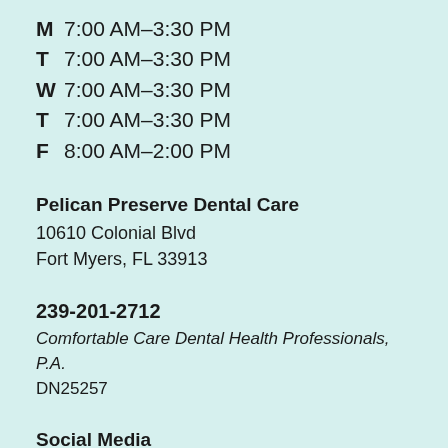M  7:00 AM–3:30 PM
T  7:00 AM–3:30 PM
W  7:00 AM–3:30 PM
T  7:00 AM–3:30 PM
F  8:00 AM–2:00 PM
Pelican Preserve Dental Care
10610 Colonial Blvd
Fort Myers, FL 33913
239-201-2712
Comfortable Care Dental Health Professionals, P.A.
DN25257
Social Media
[Figure (illustration): Facebook and Instagram social media icons]